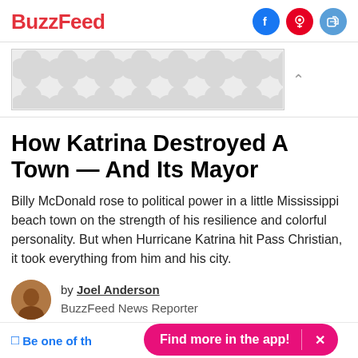BuzzFeed
[Figure (other): Advertisement banner with decorative pattern of overlapping circles in grey]
How Katrina Destroyed A Town — And Its Mayor
Billy McDonald rose to political power in a little Mississippi beach town on the strength of his resilience and colorful personality. But when Hurricane Katrina hit Pass Christian, it took everything from him and his city.
by Joel Anderson
BuzzFeed News Reporter
Be one of th...